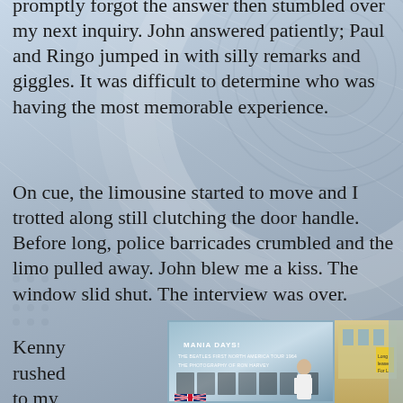promptly forgot the answer then stumbled over my next inquiry. John answered patiently; Paul and Ringo jumped in with silly remarks and giggles. It was difficult to determine who was having the most memorable experience.
On cue, the limousine started to move and I trotted along still clutching the door handle. Before long, police barricades crumbled and the limo pulled away. John blew me a kiss. The window slid shut. The interview was over.
Kenny rushed to my side and we hugged,
[Figure (photo): Photo of a person standing outside a store with a window display reading 'MANIA DAYS! THE BEATLES FIRST NORTH AMERICAN TOUR 1964 THE PHOTOGRAPHY OF RON HARVEY'. A Union Jack flag is visible at the bottom left.]